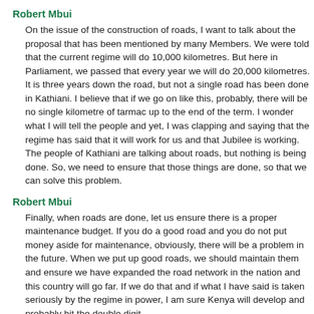Robert Mbui
On the issue of the construction of roads, I want to talk about the proposal that has been mentioned by many Members. We were told that the current regime will do 10,000 kilometres. But here in Parliament, we passed that every year we will do 20,000 kilometres. It is three years down the road, but not a single road has been done in Kathiani. I believe that if we go on like this, probably, there will be no single kilometre of tarmac up to the end of the term. I wonder what I will tell the people and yet, I was clapping and saying that the regime has said that it will work for us and that Jubilee is working. The people of Kathiani are talking about roads, but nothing is being done. So, we need to ensure that those things are done, so that we can solve this problem.
Robert Mbui
Finally, when roads are done, let us ensure there is a proper maintenance budget. If you do a good road and you do not put money aside for maintenance, obviously, there will be a problem in the future. When we put up good roads, we should maintain them and ensure we have expanded the road network in the nation and this country will go far. If we do that and if what I have said is taken seriously by the regime in power, I am sure Kenya will develop and probably hit the double digit.